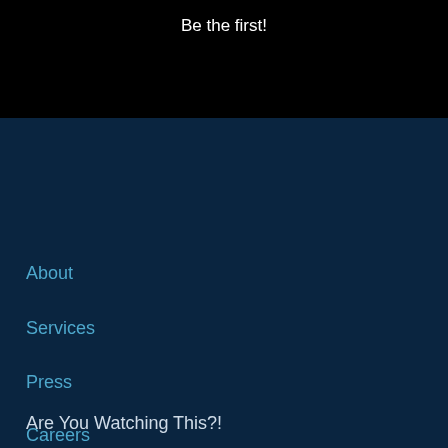Be the first!
About
Services
Press
Careers
Contact
Our Story
Are You Watching This?!